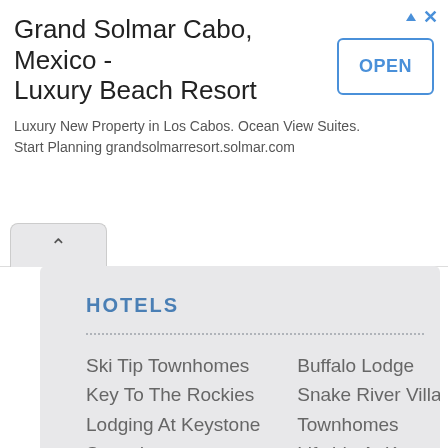[Figure (screenshot): Advertisement banner for Grand Solmar Cabo, Mexico - Luxury Beach Resort with OPEN button]
Grand Solmar Cabo, Mexico - Luxury Beach Resort
Luxury New Property in Los Cabos. Ocean View Suites. Start Planning grandsolmarresort.solmar.com
HOTELS
Ski Tip Townhomes
Key To The Rockies
Lodging At Keystone
Snowdance Condominiums
Liftside Studios
Arapahoe Inn
Ski Run Lodge
Tenderfoot Lodge
Silver Mill Lodge At River
Buffalo Lodge
Snake River Village Townhomes
Liftside At Keystone
The Pines Condominiums
Super 8 Motel
Georgetown
Chestnut Lane
Townhomes Crmr
The Lodge At